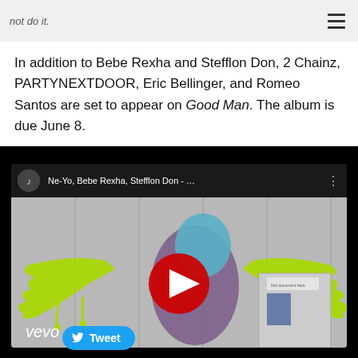not do it.
In addition to Bebe Rexha and Stefflon Don, 2 Chainz, PARTYNEXTDOOR, Eric Bellinger, and Romeo Santos are set to appear on Good Man. The album is due June 8.
[Figure (screenshot): Embedded YouTube video thumbnail showing Ne-Yo, Bebe Rexha, Stefflon Don music video with vevo branding and red play button overlay]
Ne-Yo, Bebe Rexha, Stefflon Don - ...